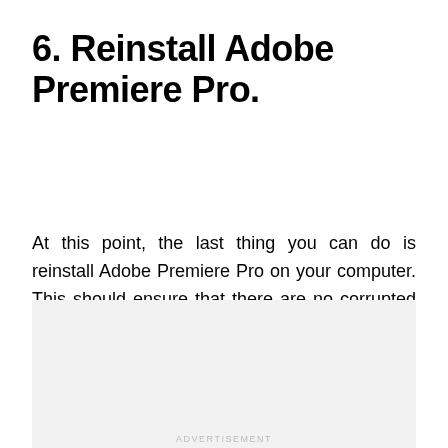6. Reinstall Adobe Premiere Pro.
At this point, the last thing you can do is reinstall Adobe Premiere Pro on your computer. This should ensure that there are no corrupted files on your system and that you have the latest working version of Adobe Premiere Pro.
[Figure (other): Advertisement placeholder box with light gray background and 'ADVERTISEMENT' label at the bottom center.]